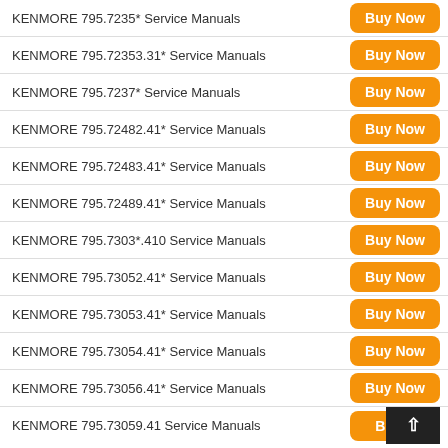KENMORE 795.7235* Service Manuals
KENMORE 795.72353.31* Service Manuals
KENMORE 795.7237* Service Manuals
KENMORE 795.72482.41* Service Manuals
KENMORE 795.72483.41* Service Manuals
KENMORE 795.72489.41* Service Manuals
KENMORE 795.7303*.410 Service Manuals
KENMORE 795.73052.41* Service Manuals
KENMORE 795.73053.41* Service Manuals
KENMORE 795.73054.41* Service Manuals
KENMORE 795.73056.41* Service Manuals
KENMORE 795.73059.41 Service Manuals